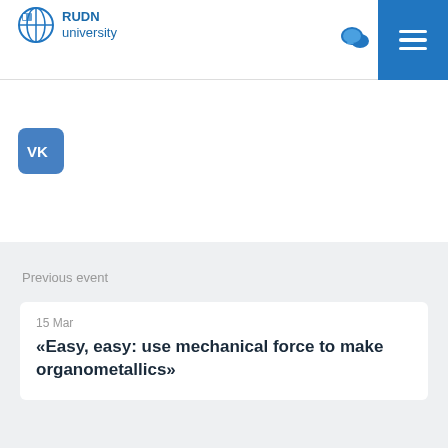RUDN university
[Figure (logo): RUDN University logo with globe icon and blue text]
[Figure (illustration): VK social media button (blue rounded square with VK logo)]
Previous event
15 Mar
«Easy, easy: use mechanical force to make organometallics»